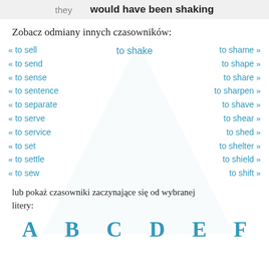they   would have been shaking
Zobacz odmiany innych czasowników:
« to sell   to shake   to shame »
« to send   to shape »
« to sense   to share »
« to sentence   to sharpen »
« to separate   to shave »
« to serve   to shear »
« to service   to shed »
« to set   to shelter »
« to settle   to shield »
« to sew   to shift »
lub pokaż czasowniki zaczynające się od wybranej litery:
A   B   C   D   E   F